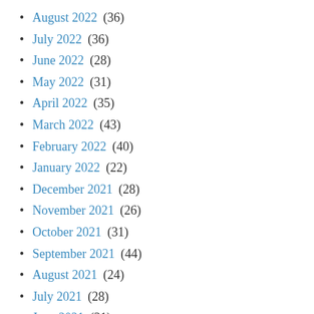August 2022 (36)
July 2022 (36)
June 2022 (28)
May 2022 (31)
April 2022 (35)
March 2022 (43)
February 2022 (40)
January 2022 (22)
December 2021 (28)
November 2021 (26)
October 2021 (31)
September 2021 (44)
August 2021 (24)
July 2021 (28)
June 2021 (31)
May 2021 (...)